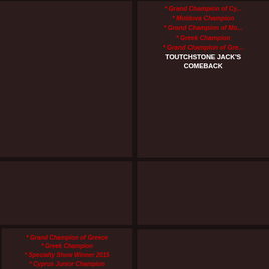[Figure (photo): Dog show catalog page, top-left: dark background photo placeholder]
* Grand Champion of Cy...
* Moldova Champion
* Grand Champion of Mo...
* Greek Champion
* Grand Champion of Gre...
TOUTCHSTONE JACK'S COMEBACK
[Figure (photo): Middle-left dark photo]
[Figure (photo): Middle-right dark photo]
[Figure (photo): Lower-left area: dark]
[Figure (photo): Lower-right area: dark]
* Grand Champion of Greece
* Greek Champion
* Specialty Show Winner 2015
* Cyprus Junior Champion
* Taiwan Junior Champion
* San Marino Junior Champion
* Caucasian Junior Champion
* Georgia Junior Champion
* Azerbaijan Junior Champion
HOT DOG OF ALMA LIBRE
[Figure (photo): Bottom row dark photos]